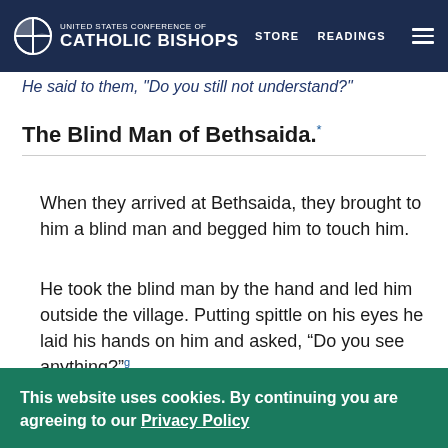United States Conference of Catholic Bishops — STORE  READINGS
He said to them, "Do you still not understand?"
The Blind Man of Bethsaida.*
When they arrived at Bethsaida, they brought to him a blind man and begged him to touch him.
He took the blind man by the hand and led him outside the village. Putting spittle on his eyes he laid his hands on him and asked, “Do you see anything?”g
This website uses cookies. By continuing you are agreeing to our Privacy Policy